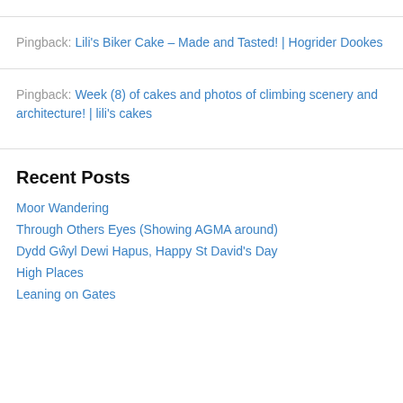Pingback: Lili's Biker Cake – Made and Tasted! | Hogrider Dookes
Pingback: Week (8) of cakes and photos of climbing scenery and architecture! | lili's cakes
Recent Posts
Moor Wandering
Through Others Eyes (Showing AGMA around)
Dydd Gŵyl Dewi Hapus, Happy St David's Day
High Places
Leaning on Gates